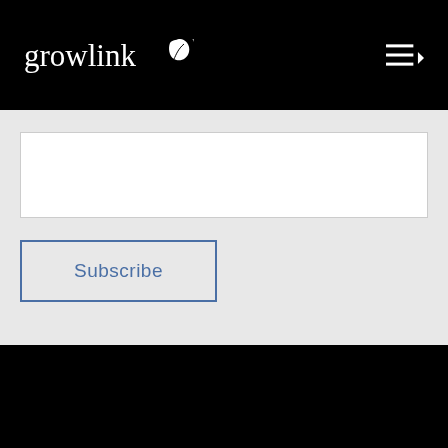[Figure (logo): Growlink logo in white on black navigation bar, with hamburger menu icon on the right]
[Figure (other): White empty input box for email subscription]
Subscribe
[Figure (logo): Growlink logo in white on black footer background]
Growlink is a leading provider of data driven farm automation and networking systems for greenhouse